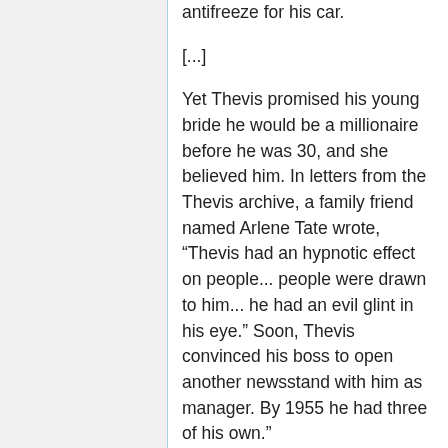antifreeze for his car.
[...]
Yet Thevis promised his young bride he would be a millionaire before he was 30, and she believed him. In letters from the Thevis archive, a family friend named Arlene Tate wrote, “Thevis had an hypnotic effect on people... people were drawn to him... he had an evil glint in his eye.” Soon, Thevis convinced his boss to open another newsstand with him as manager. By 1955 he had three of his own.”
“It was on a business trip to